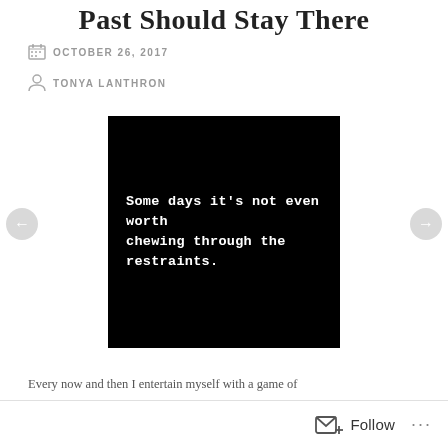Past Should Stay There
OCTOBER 26, 2017
TONYA LANTHRON
[Figure (illustration): Black background image with white text in a gothic/grunge font reading: 'Some days it's not even worth chewing through the restraints.']
Every now and then I entertain myself with a game of
Follow ...